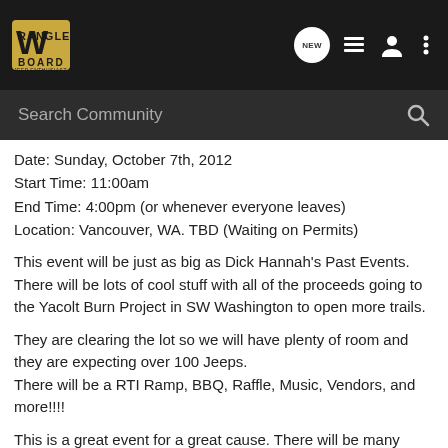Wrangler Board — navigation bar with logo and icons
Search Community
Date: Sunday, October 7th, 2012
Start Time: 11:00am
End Time: 4:00pm (or whenever everyone leaves)
Location: Vancouver, WA. TBD (Waiting on Permits)
This event will be just as big as Dick Hannah's Past Events. There will be lots of cool stuff with all of the proceeds going to the Yacolt Burn Project in SW Washington to open more trails.
They are clearing the lot so we will have plenty of room and they are expecting over 100 Jeeps.
There will be a RTI Ramp, BBQ, Raffle, Music, Vendors, and more!!!!
This is a great event for a great cause. There will be many sponsors this year bringing their products, and they are working